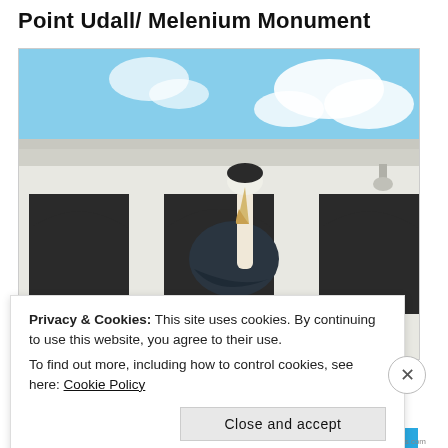Point Udall/ Melenium Monument
[Figure (photo): A pelican statue perched on driftwood or a post in front of a white building with arched windows and a blue sky with clouds in the background.]
Privacy & Cookies: This site uses cookies. By continuing to use this website, you agree to their use.
To find out more, including how to control cookies, see here: Cookie Policy
Close and accept